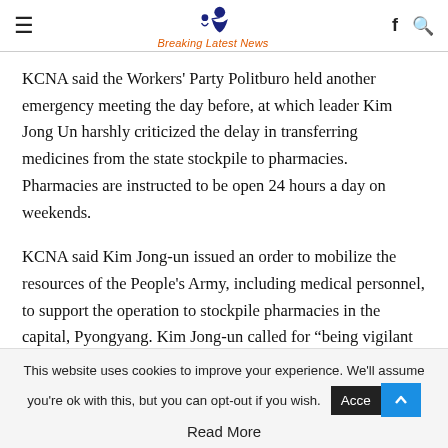Breaking Latest News
KCNA said the Workers' Party Politburo held another emergency meeting the day before, at which leader Kim Jong Un harshly criticized the delay in transferring medicines from the state stockpile to pharmacies. Pharmacies are instructed to be open 24 hours a day on weekends.
KCNA said Kim Jong-un issued an order to mobilize the resources of the People’s Army, including medical personnel, to support the operation to stockpile pharmacies in the capital, Pyongyang. Kim Jong-un called for “being vigilant in the fierce battle against the epidemic”, blaming the cabinet and public
This website uses cookies to improve your experience. We'll assume you're ok with this, but you can opt-out if you wish.
Read More